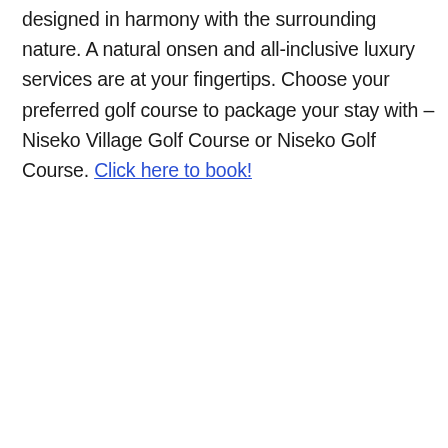designed in harmony with the surrounding nature. A natural onsen and all-inclusive luxury services are at your fingertips. Choose your preferred golf course to package your stay with – Niseko Village Golf Course or Niseko Golf Course. Click here to book!